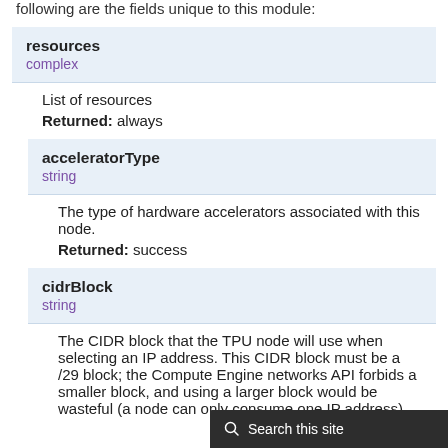following are the fields unique to this module:
resources
complex
List of resources
Returned: always
acceleratorType
string
The type of hardware accelerators associated with this node.
Returned: success
cidrBlock
string
The CIDR block that the TPU node will use when selecting an IP address. This CIDR block must be a /29 block; the Compute Engine networks API forbids a smaller block, and using a larger block would be wasteful (a node can only consume one IP address).